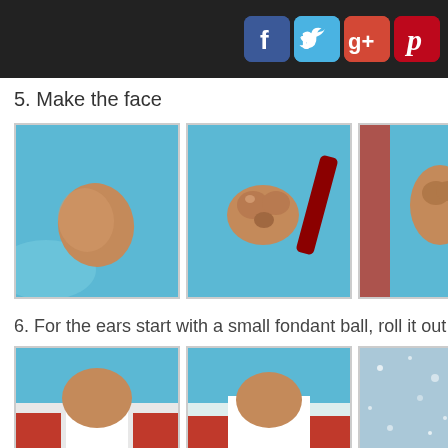[Figure (screenshot): Dark header bar with social media icons: Facebook (blue f), Twitter (blue bird), Google+ (red g+), Pinterest (red p)]
5. Make the face
[Figure (photo): Three step-by-step photos on blue background showing fondant face-making process: plain fondant shape, then pinched/shaped nose, then partial view of face]
6. For the ears start with a small fondant ball, roll it out a
[Figure (photo): Three photos showing ear-making steps with fondant on blue and red/white background]